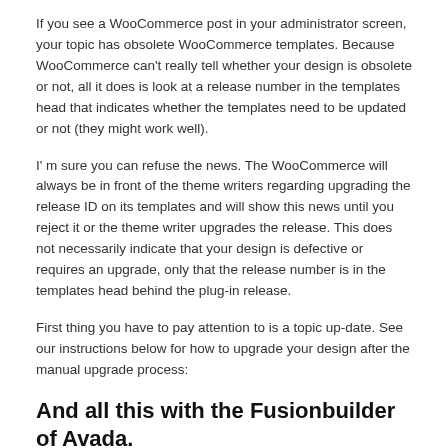If you see a WooCommerce post in your administrator screen, your topic has obsolete WooCommerce templates. Because WooCommerce can't really tell whether your design is obsolete or not, all it does is look at a release number in the templates head that indicates whether the templates need to be updated or not (they might work well).
I' m sure you can refuse the news. The WooCommerce will always be in front of the theme writers regarding upgrading the release ID on its templates and will show this news until you reject it or the theme writer upgrades the release. This does not necessarily indicate that your design is defective or requires an upgrade, only that the release number is in the templates head behind the plug-in release.
First thing you have to pay attention to is a topic up-date. See our instructions below for how to upgrade your design after the manual upgrade process:
And all this with the Fusionbuilder of Avada.